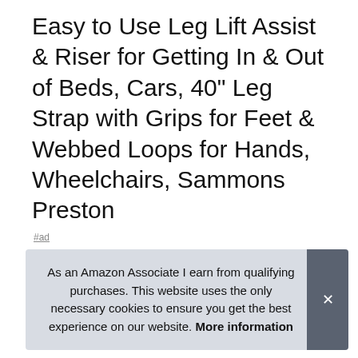Easy to Use Leg Lift Assist & Riser for Getting In & Out of Beds, Cars, 40" Leg Strap with Grips for Feet & Webbed Loops for Hands, Wheelchairs, Sammons Preston
#ad
[Figure (photo): Four thumbnail images of a man demonstrating leg lift assist strap in various positions including wheelchair use and floor exercises.]
Sammons Preston
assist in lifting each leg one at a time for help with mobility.
As an Amazon Associate I earn from qualifying purchases. This website uses the only necessary cookies to ensure you get the best experience on our website. More information